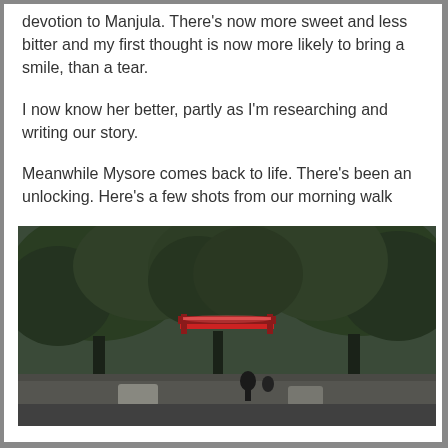devotion to Manjula. There's now more sweet and less bitter and my first thought is now more likely to bring a smile, than a tear.
I now know her better, partly as I'm researching and writing our story.
Meanwhile Mysore comes back to life. There's been an unlocking. Here's a few shots from our morning walk
[Figure (photo): Outdoor morning scene in Mysore showing a street lined with large green trees. A decorative illuminated arch or gate structure is visible in the middle distance. Cars and people visible on the street below.]